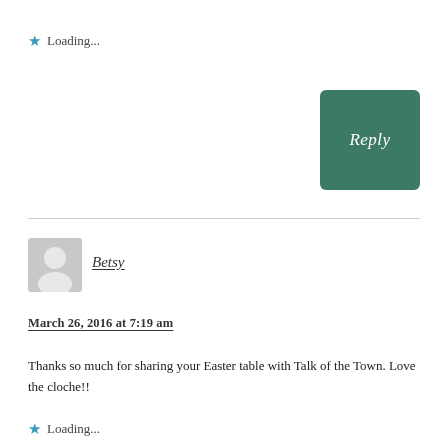Loading...
Reply
Betsy
March 26, 2016 at 7:19 am
Thanks so much for sharing your Easter table with Talk of the Town. Love the cloche!!
Loading...